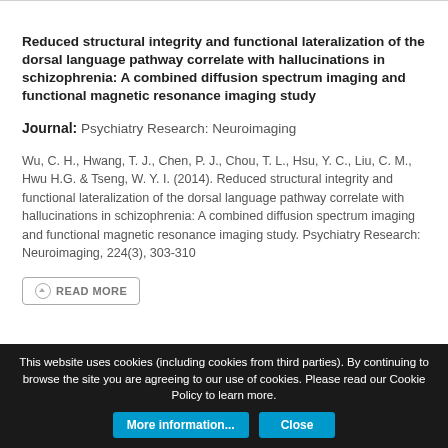Reduced structural integrity and functional lateralization of the dorsal language pathway correlate with hallucinations in schizophrenia: A combined diffusion spectrum imaging and functional magnetic resonance imaging study
Journal: Psychiatry Research: Neuroimaging
Wu, C. H., Hwang, T. J., Chen, P. J., Chou, T. L., Hsu, Y. C., Liu, C. M., Hwu H.G. & Tseng, W. Y. I. (2014). Reduced structural integrity and functional lateralization of the dorsal language pathway correlate with hallucinations in schizophrenia: A combined diffusion spectrum imaging and functional magnetic resonance imaging study. Psychiatry Research: Neuroimaging, 224(3), 303-310
READ MORE
This website uses cookies (including cookies from third parties). By continuing to browse the site you are agreeing to our use of cookies. Please read our Cookie Policy to learn more.